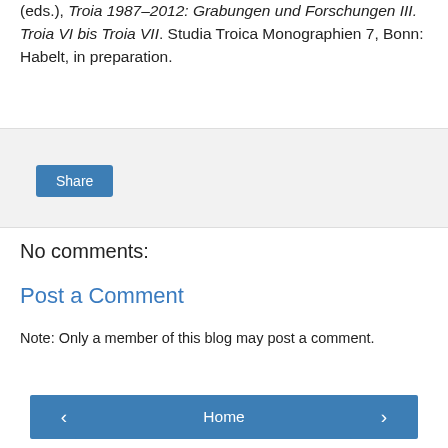(eds.), Troia 1987–2012: Grabungen und Forschungen III. Troia VI bis Troia VII. Studia Troica Monographien 7, Bonn: Habelt, in preparation.
Share
No comments:
Post a Comment
Note: Only a member of this blog may post a comment.
Home | View web version | Powered by Blogger.